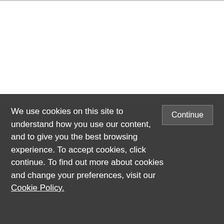[Figure (logo): Social media icons: Twitter bird (blue), Facebook 'f' logo (blue box), RSS feed icon (orange box)]
Explore the State of the States
[Figure (map): Partial map of the United States showing states colored in blue, red, and purple shades. Visible state labels include WA, MT, ND.]
We use cookies on this site to understand how you use our content, and to give you the best browsing experience. To accept cookies, click continue. To find out more about cookies and change your preferences, visit our Cookie Policy.